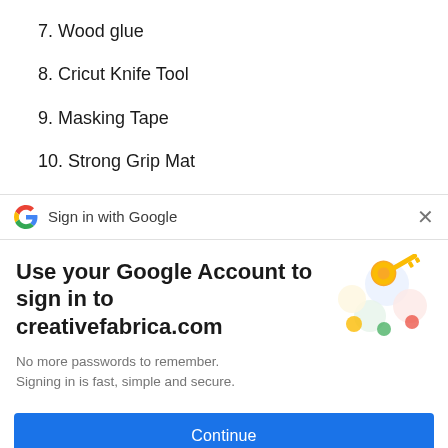7. Wood glue
8. Cricut Knife Tool
9. Masking Tape
10. Strong Grip Mat
Sign in with Google
Use your Google Account to sign in to creativefabrica.com
No more passwords to remember. Signing in is fast, simple and secure.
Continue